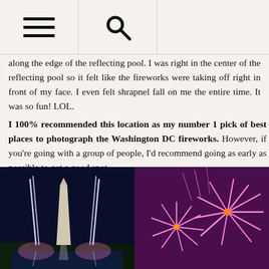[hamburger menu icon] [search icon]
along the edge of the reflecting pool. I was right in the center of the reflecting pool so it felt like the fireworks were taking off right in front of my face. I even felt shrapnel fall on me the entire time. It was so fun! LOL.
I 100% recommended this location as my number 1 pick of best places to photograph the Washington DC fireworks. However, if you’re going with a group of people, I’d recommend going as early as possible to get a good spot.
[Figure (photo): Washington Monument with fireworks launching beside it, reflected in the pool at night]
[Figure (photo): Close-up of pink and purple fireworks bursting against a purple night sky]